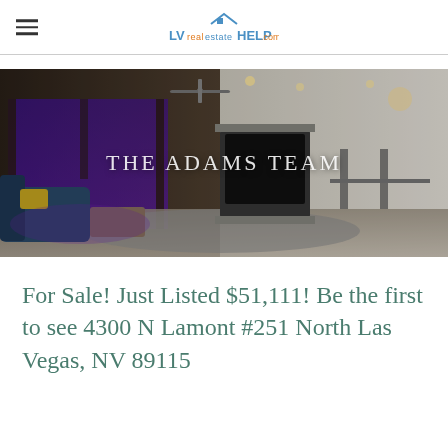LVrealestateHELP.com
[Figure (photo): Interior photo of a modern luxury home living room with blue ambient lighting, ceiling fan, open floor plan, and dining area in background. Overlay text reads THE ADAMS TEAM.]
For Sale! Just Listed $51,111! Be the first to see 4300 N Lamont #251 North Las Vegas, NV 89115